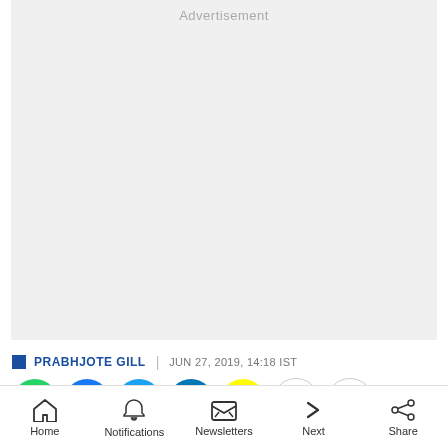[Figure (other): Advertisement placeholder box with light gray background]
Advertisement
PRABHJOTE GILL | JUN 27, 2019, 14:18 IST
[Figure (other): Social share buttons row: WhatsApp, Facebook, Twitter, LinkedIn, Snapchat, Link, More]
Home | Notifications | Newsletters | Next | Share